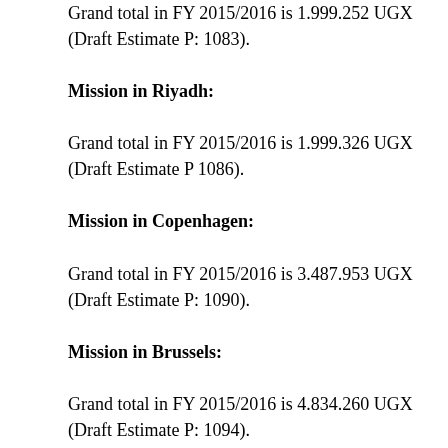Grand total in FY 2015/2016 is 1.999.252 UGX (Draft Estimate P: 1083).
Mission in Riyadh:
Grand total in FY 2015/2016 is 1.999.326 UGX (Draft Estimate P 1086).
Mission in Copenhagen:
Grand total in FY 2015/2016 is 3.487.953 UGX (Draft Estimate P: 1090).
Mission in Brussels:
Grand total in FY 2015/2016 is 4.834.260 UGX (Draft Estimate P: 1094).